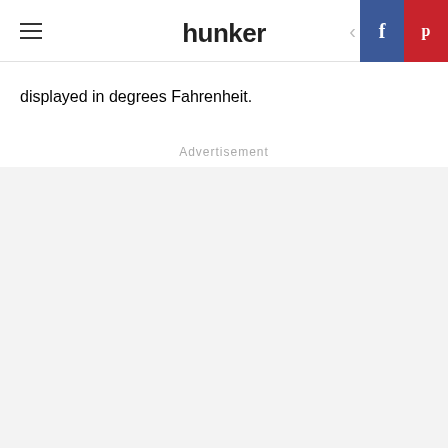hunker
displayed in degrees Fahrenheit.
Advertisement